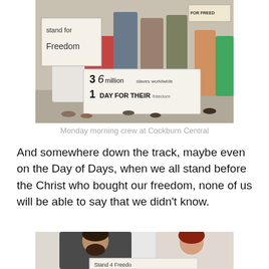[Figure (photo): Group of people standing outdoors holding signs. One sign reads 'stand for Freedom', another large sign reads '36 million slaves worldwide, 1 DAY FOR THEIR freedom'. People are wearing casual summer clothes and sandals.]
Monday morning crew at Cockburn Central
And somewhere down the track, maybe even on the Day of Days, when we all stand before the Christ who bought our freedom, none of us will be able to say that we didn't know.
[Figure (photo): Two people, a bearded man and a woman with red hair, holding a sign that reads 'Stand 4 Freedom'.]